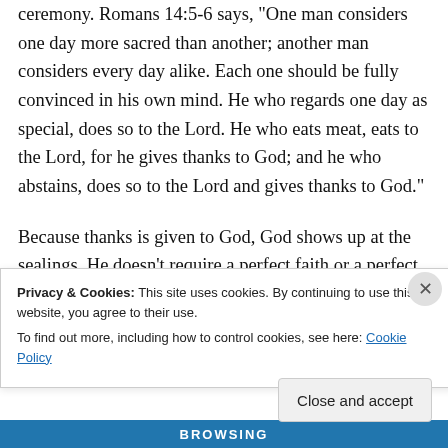ceremony. Romans 14:5-6 says, "One man considers one day more sacred than another; another man considers every day alike. Each one should be fully convinced in his own mind. He who regards one day as special, does so to the Lord. He who eats meat, eats to the Lord, for he gives thanks to God; and he who abstains, does so to the Lord and gives thanks to God."
Because thanks is given to God, God shows up at the sealings. He doesn't require a perfect faith or a perfect doctrine, but when he is honored, he
Privacy & Cookies: This site uses cookies. By continuing to use this website, you agree to their use.
To find out more, including how to control cookies, see here: Cookie Policy
Close and accept